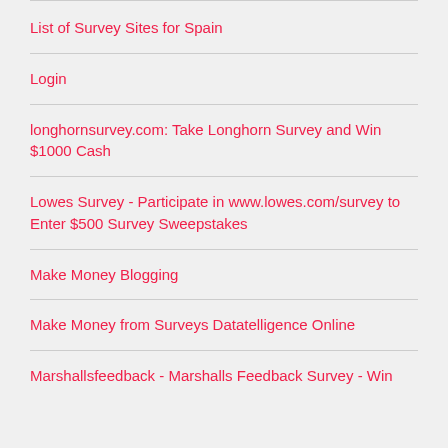List of Survey Sites for Spain
Login
longhornsurvey.com: Take Longhorn Survey and Win $1000 Cash
Lowes Survey - Participate in www.lowes.com/survey to Enter $500 Survey Sweepstakes
Make Money Blogging
Make Money from Surveys Datatelligence Online
Marshallsfeedback - Marshalls Feedback Survey - Win